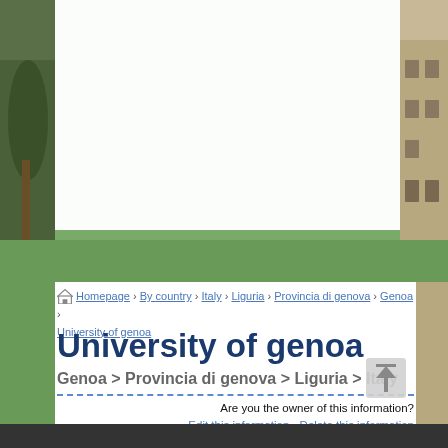[Figure (photo): University courtyard with trees and historic building facade visible on sides]
🏠 Homepage › By country › Italy › Liguria › Provincia di genova › Genoa › University of genoa
University of genoa
Genoa > Provincia di genova > Liguria > Italy
Are you the owner of this information? Edit this information - Delete this information
Are you interested in giving a review on University of Genoa to orientate possible students about this center? If so, post your comment in the box below on this page. Your email will not be published. Your opinion can help many students who are still in their difficult decision process to opt for your center.
Thanks to the fact that University of Genoa has an information page in our database, potential students can rely on their quality and quickly have their